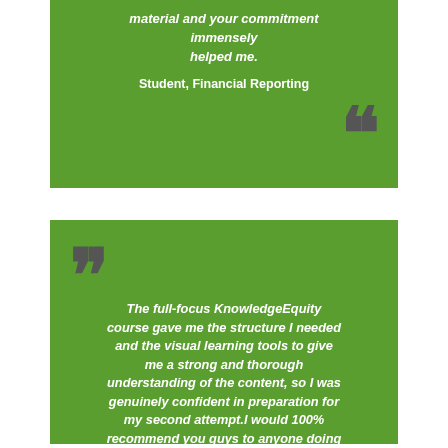material and your commitment immensely helped me. Student, Financial Reporting
The full-focus KnowledgeEquity course gave me the structure I needed and the visual learning tools to give me a strong and thorough understanding of the content, so I was genuinely confident in preparation for my second attempt.I would 100% recommend you guys to anyone doing their CPA! Nicole M, Global Strategy and Leadership